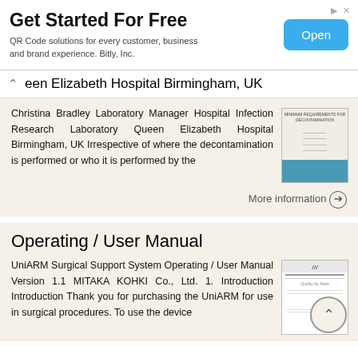[Figure (screenshot): Advertisement banner: 'Get Started For Free' with subtitle 'QR Code solutions for every customer, business and brand experience. Bitly, Inc.' and a blue 'Open' button]
een Elizabeth Hospital Birmingham, UK
Christina Bradley Laboratory Manager Hospital Infection Research Laboratory Queen Elizabeth Hospital Birmingham, UK Irrespective of where the decontamination is performed or who it is performed by the
[Figure (photo): Thumbnail of a document cover titled 'MINIMUM REQUIREMENTS FOR DECONTAMINATION' with a blue/teal image at the bottom]
More information →
Operating / User Manual
UniARM Surgical Support System Operating / User Manual Version 1.1 MITAKA KOHKI Co., Ltd. 1. Introduction Introduction Thank you for purchasing the UniARM for use in surgical procedures. To use the device
[Figure (photo): Thumbnail of a document with header lines and text]